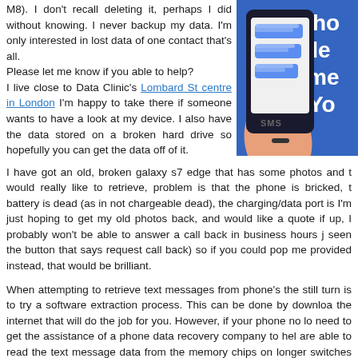M8). I don't recall deleting it, perhaps I did without knowing. I never backup my data. I'm only interested in lost data of one contact that's all.
Please let me know if you able to help?
I live close to Data Clinic's Lombard St centre in London I'm happy to take there if someone wants to have a look at my device. I also have the data stored on a broken hard drive so hopefully you can get the data off of it.
[Figure (illustration): Illustration showing a hand holding a smartphone with SMS chat bubbles on screen, on a blue background with partial white text visible]
I have got an old, broken galaxy s7 edge that has some photos and t would really like to retrieve, problem is that the phone is bricked, t battery is dead (as in not chargeable dead), the charging/data port is I'm just hoping to get my old photos back, and would like a quote if up, I probably won't be able to answer a call back in business hours j seen the button that says request call back) so if you could pop me provided instead, that would be brilliant.
When attempting to retrieve text messages from phone's the still turn is to try a software extraction process. This can be done by downloa the internet that will do the job for you. However, if your phone no lo need to get the assistance of a phone data recovery company to hel are able to read the text message data from the memory chips on longer switches on.